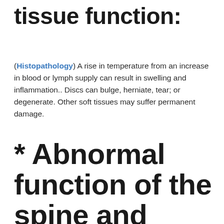tissue function:
(Histopathology) A rise in temperature from an increase in blood or lymph supply can result in swelling and inflammation.. Discs can bulge, herniate, tear; or degenerate. Other soft tissues may suffer permanent damage.
* Abnormal function of the spine and body: